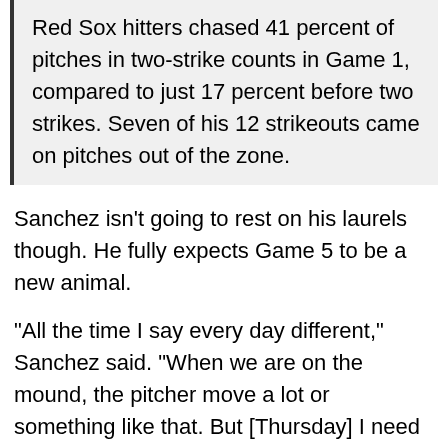Red Sox hitters chased 41 percent of pitches in two-strike counts in Game 1, compared to just 17 percent before two strikes. Seven of his 12 strikeouts came on pitches out of the zone.
Sanchez isn't going to rest on his laurels though. He fully expects Game 5 to be a new animal.
"All the time I say every day different," Sanchez said. "When we are on the mound, the pitcher move a lot or something like that. But [Thursday] I need to work more on the throw strike. Last time I threw too many away, and I don't want to do on my next outing."
Those six walks somewhat took away from the spectacle of his no-hit performance. Throwing just 66 strikes in 116 pitches meant he was in trouble much of the night, despite his dominance. Pitch count trouble